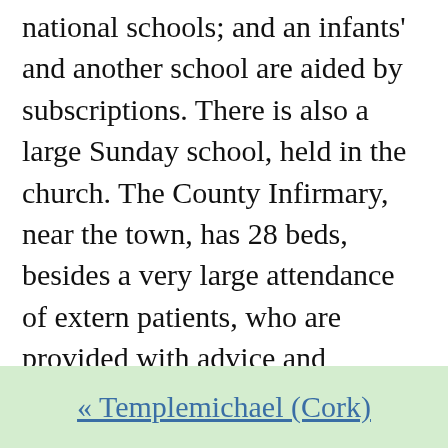national schools; and an infants' and another school are aided by subscriptions. There is also a large Sunday school, held in the church. The County Infirmary, near the town, has 28 beds, besides a very large attendance of extern patients, who are provided with advice and medicine. There is a bequest for the poor, called the "Charleton Money." In the townland of Lisserdowling is a moat which is supposed to form the central spot of Ireland. Near the town is a chalybeate spa; and on the glebe of Templemichael are the ruins of an old church.
« Templemichael (Cork)